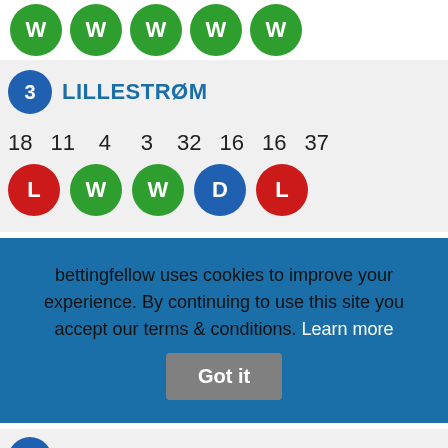[Figure (infographic): Row of 5 green circles each containing letter W at top of page]
3  LILLESTRØM
18  11  4  3  32  16  16  37
[Figure (infographic): Form circles: L (red), W (green), W (green), D (blue), L (red)]
4
18
D
bettingfellow uses cookies to improve your experience. By continuing to use this site you accept our terms & conditions. Learn more  Got it
5
18  8  5  5  32  25  7  29